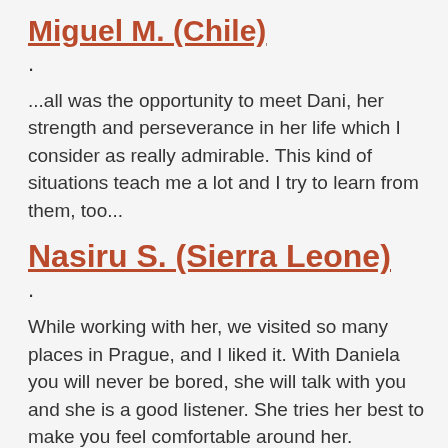Miguel M. (Chile)
...all was the opportunity to meet Dani, her strength and perseverance in her life which I consider as really admirable. This kind of situations teach me a lot and I try to learn from them, too...
Nasiru S. (Sierra Leone)
While working with her, we visited so many places in Prague, and I liked it. With Daniela you will never be bored, she will talk with you and she is a good listener. She tries her best to make you feel comfortable around her.
Older postsNewer posts